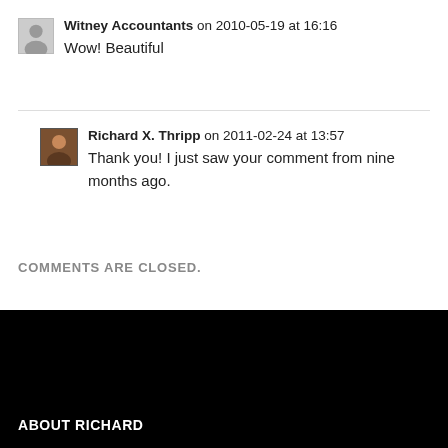Witney Accountants on 2010-05-19 at 16:16
Wow! Beautiful
Richard X. Thripp on 2011-02-24 at 13:57
Thank you! I just saw your comment from nine months ago.
COMMENTS ARE CLOSED.
ABOUT RICHARD